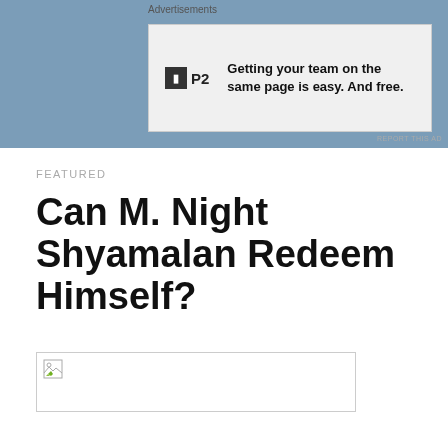Advertisements
[Figure (other): Advertisement banner: P2 logo with text 'Getting your team on the same page is easy. And free.']
FEATURED
Can M. Night Shyamalan Redeem Himself?
[Figure (photo): Broken image placeholder]